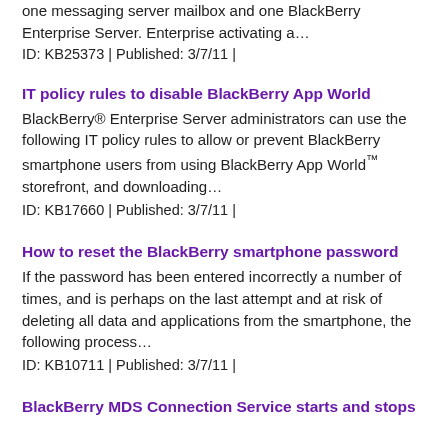one messaging server mailbox and one BlackBerry Enterprise Server. Enterprise activating a…
ID: KB25373 | Published: 3/7/11 |
IT policy rules to disable BlackBerry App World
BlackBerry® Enterprise Server administrators can use the following IT policy rules to allow or prevent BlackBerry smartphone users from using BlackBerry App World™ storefront, and downloading…
ID: KB17660 | Published: 3/7/11 |
How to reset the BlackBerry smartphone password
If the password has been entered incorrectly a number of times, and is perhaps on the last attempt and at risk of deleting all data and applications from the smartphone, the following process…
ID: KB10711 | Published: 3/7/11 |
BlackBerry MDS Connection Service starts and stops